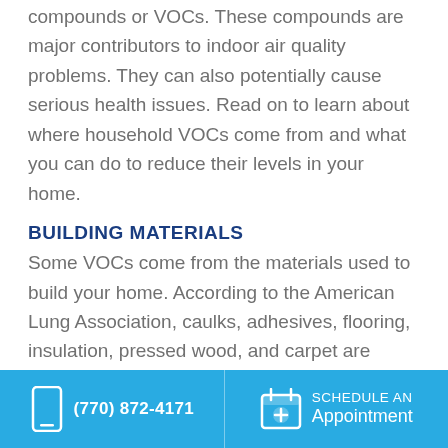compounds or VOCs. These compounds are major contributors to indoor air quality problems. They can also potentially cause serious health issues. Read on to learn about where household VOCs come from and what you can do to reduce their levels in your home.
BUILDING MATERIALS
Some VOCs come from the materials used to build your home. According to the American Lung Association, caulks, adhesives, flooring, insulation, pressed wood, and carpet are common sources of pollutants. Formaldehyde, benzene, and toluene can often be found in such products and have been linked to cancer. Products applied to the building materials such
(770) 872-4171   SCHEDULE AN Appointment